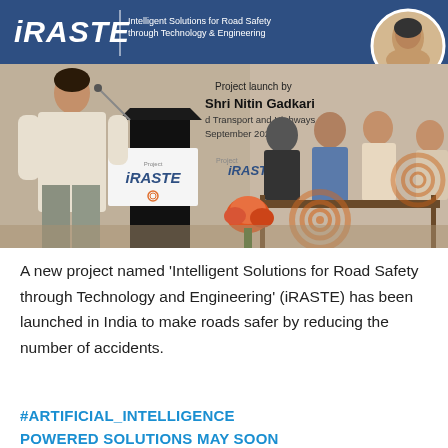[Figure (photo): Event photo showing iRASTE project launch. A speaker stands at a podium with 'Project iRASTE' branding. Banner reads 'Intelligent Solutions for Road Safety through Technology & Engineering. Project launch by Shri Nitin Gadkari, [Minister of Road] Transport and Highways, [date] September 202[1]'. Panel members are seated in the background. A circular portrait of Shri Nitin Gadkari appears top right.]
A new project named ‘Intelligent Solutions for Road Safety through Technology and Engineering’ (iRASTE) has been launched in India to make roads safer by reducing the number of accidents.
#ARTIFICIAL_INTELLIGENCE
POWERED SOLUTIONS MAY SOON